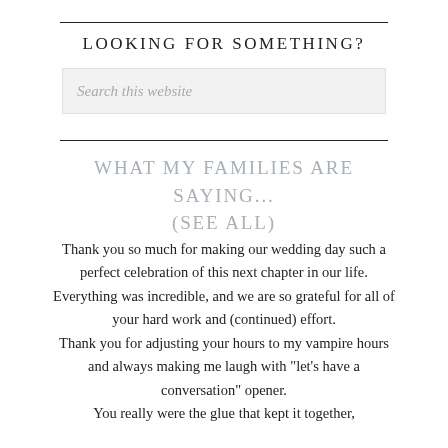LOOKING FOR SOMETHING?
[Figure (screenshot): Search box with placeholder text 'Search this website']
WHAT MY FAMILIES ARE SAYING... (SEE ALL)
Thank you so much for making our wedding day such a perfect celebration of this next chapter in our life. Everything was incredible, and we are so grateful for all of your hard work and (continued) effort. Thank you for adjusting your hours to my vampire hours and always making me laugh with "let's have a conversation" opener. You really were the glue that kept it together,